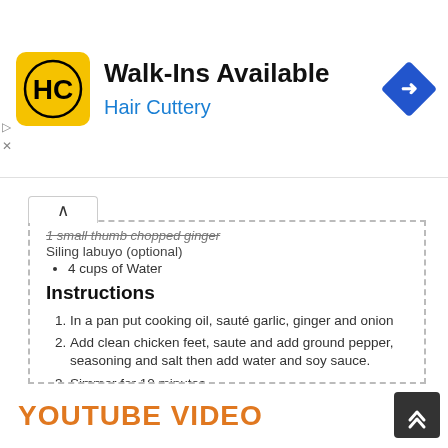[Figure (logo): Hair Cuttery advertisement banner with HC logo, Walk-Ins Available title, Hair Cuttery subtitle, and navigation arrow icon]
1 small thumb chopped ginger
Siling labuyo (optional)
4 cups of Water
Instructions
In a pan put cooking oil, sauté garlic, ginger and onion
Add clean chicken feet, saute and add ground pepper, seasoning and salt then add water and soy sauce.
Simmer for 10 minutes.
After 10 mins add oyster sauce and sugar, cover and let it boil.
While boiling add the pepper corn and bay leaves. cover and simmer for 1hr in medium heat flame.
After an hour add sprite and vinegar.
If you want spicy add siling labuyo and more pepper.
Cover and continue cooking until sauce reduces.
Serve and enjoy with rice.
YOUTUBE VIDEO